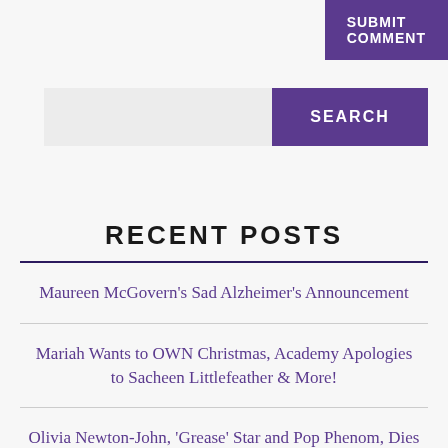SUBMIT COMMENT
[Figure (screenshot): Search bar with grey input field and purple SEARCH button]
RECENT POSTS
Maureen McGovern's Sad Alzheimer's Announcement
Mariah Wants to OWN Christmas, Academy Apologies to Sacheen Littlefeather & More!
Olivia Newton-John, 'Grease' Star and Pop Phenom, Dies @ 73